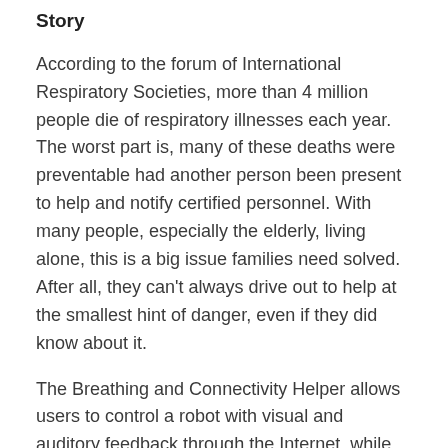Story
According to the forum of International Respiratory Societies, more than 4 million people die of respiratory illnesses each year. The worst part is, many of these deaths were preventable had another person been present to help and notify certified personnel. With many people, especially the elderly, living alone, this is a big issue families need solved. After all, they can't always drive out to help at the smallest hint of danger, even if they did know about it.
The Breathing and Connectivity Helper allows users to control a robot with visual and auditory feedback through the Internet, while providing breathing info from a Walabot to the caregiver's phone and serving as a companion in their house. User's will be able to